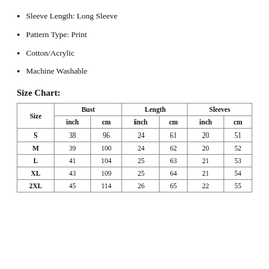Sleeve Length: Long Sleeve
Pattern Type: Print
Cotton/Acrylic
Machine Washable
Size Chart:
| Size | Bust inch | Bust cm | Length inch | Length cm | Sleeves inch | Sleeves cm |
| --- | --- | --- | --- | --- | --- | --- |
| S | 38 | 96 | 24 | 61 | 20 | 51 |
| M | 39 | 100 | 24 | 62 | 20 | 52 |
| L | 41 | 104 | 25 | 63 | 21 | 53 |
| XL | 43 | 109 | 25 | 64 | 21 | 54 |
| 2XL | 45 | 114 | 26 | 65 | 22 | 55 |